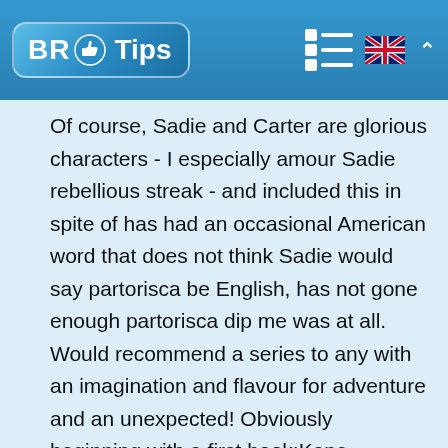BR Tips
Of course, Sadie and Carter are glorious characters - I especially amour Sadie rebellious streak - and included this in spite of has had an occasional American word that does not think Sadie would say partorisca be English, has not gone enough partorisca dip me was at all. Would recommend a series to any with an imagination and flavour for adventure and an unexpected! Obviously beginning with a first book:Kane Chronic: to A Red Pyramid Also likes you to them these books, another series there is enjoyed really and would recommend, is Closed Present: Book 1 in a Realm of Trilogy of Gems (A...t of F...l...)